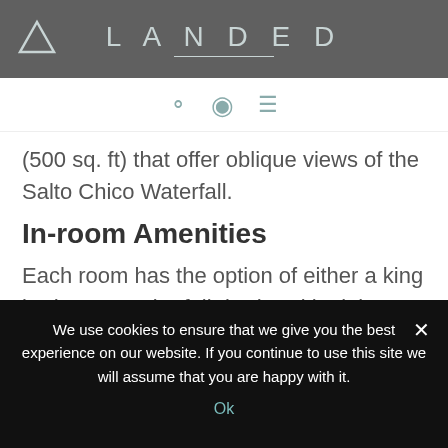LANDED
(500 sq. ft) that offer oblique views of the Salto Chico Waterfall.
In-room Amenities
Each room has the option of either a king bed or two twin “full” beds, with sitting areas available. The room provides bathrobes, slippers, hair dryers, and a security box
We use cookies to ensure that we give you the best experience on our website. If you continue to use this site we will assume that you are happy with it.
Ok